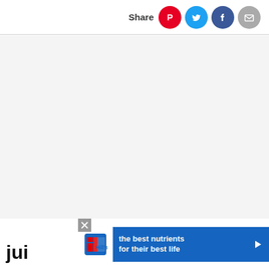Share
[Figure (other): Large empty light gray content area placeholder]
[Figure (infographic): Hill's pet food advertisement banner: Hill's logo on white background, blue banner with text 'the best nutrients for their best life', close button and play arrow]
jui...